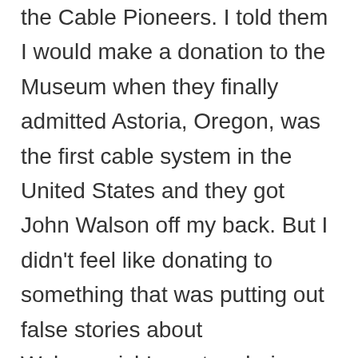the Cable Pioneers. I told them I would make a donation to the Museum when they finally admitted Astoria, Oregon, was the first cable system in the United States and they got John Walson off my back. But I didn't feel like donating to something that was putting out false stories about Walsonavich's system being the first.
In the early chapters she goes into her study of Parson's and her study of Walson's operation. She recognizes Astoria as the original cable system in the United States and then gives